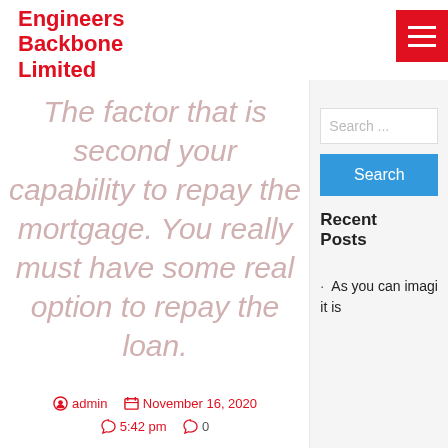Engineers Backbone Limited
The factor that is second your capability to repay the mortgage. You really must have some real option to repay the loan.
admin  November 16, 2020  5:42 pm  0
Search ...
Search
Recent Posts
As you can imagi it is